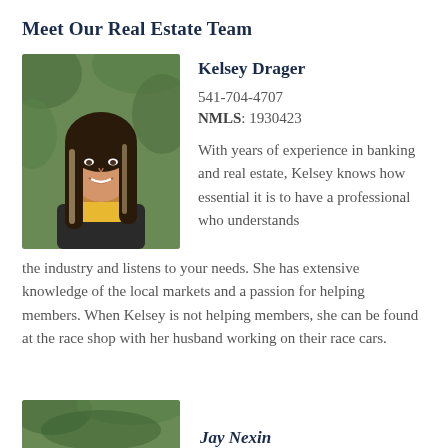Meet Our Real Estate Team
[Figure (photo): Headshot photo of Kelsey Drager, a woman with long brown and blonde highlighted hair, smiling, wearing a yellow top and dark jacket, with green foliage background.]
Kelsey Drager
541-704-4707
NMLS: 1930423
With years of experience in banking and real estate, Kelsey knows how essential it is to have a professional who understands the industry and listens to your needs. She has extensive knowledge of the local markets and a passion for helping members. When Kelsey is not helping members, she can be found at the race shop with her husband working on their race cars.
[Figure (photo): Partial photo of next team member (bottom of page, partially visible), green/nature background.]